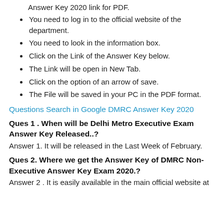Answer Key 2020 link for PDF.
You need to log in to the official website of the department.
You need to look in the information box.
Click on the Link of the Answer Key below.
The Link will be open in New Tab.
Click on the option of an arrow of save.
The File will be saved in your PC in the PDF format.
Questions Search in Google DMRC Answer Key 2020
Ques 1 . When will be Delhi Metro Executive Exam Answer Key Released..?
Answer 1. It will be released in the Last Week of February.
Ques 2. Where we get the Answer Key of DMRC Non-Executive Answer Key Exam 2020.?
Answer 2 . It is easily available in the main official website at